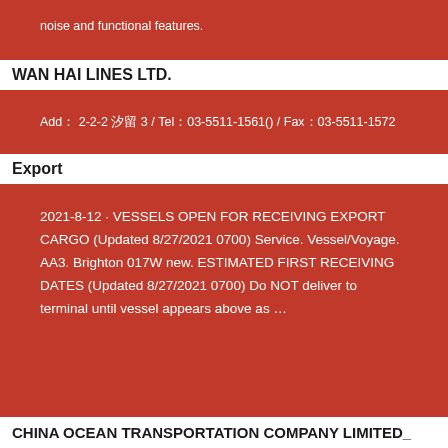noise and functional features.
WAN HAI LINES LTD.
Add： 2-2-2 汐留 3 / Tel：03-5511-1561() / Fax：03-5511-1572
Export
2021-8-12 · VESSELS OPEN FOR RECEIVING EXPORT CARGO (Updated 8/27/2021 0700) Service. Vessel/Voyage. AA3. Brighton 017W new. ESTIMATED FIRST RECEIVING DATES (Updated 8/27/2021 0700) Do NOT deliver to terminal until vessel appears above as …
CHINA OCEAN TRANSPORTATION COMPANY LIMITED_